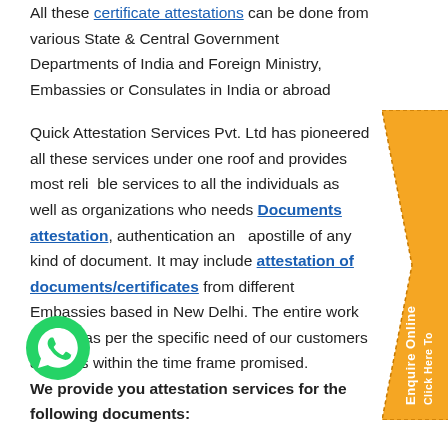All these certificate attestations can be done from various State & Central Government Departments of India and Foreign Ministry, Embassies or Consulates in India or abroad
Quick Attestation Services Pvt. Ltd has pioneered all these services under one roof and provides most reliable services to all the individuals as well as organizations who needs Documents attestation, authentication and apostille of any kind of document. It may include attestation of documents/certificates from different Embassies based in New Delhi. The entire work is done as per the specific need of our customers & clients within the time frame promised.
We provide you attestation services for the following documents:
[Figure (other): Orange arrow-shaped banner on the right side with rotated text 'Click Here To Enquire Online']
[Figure (other): WhatsApp green circle icon in the bottom left area]